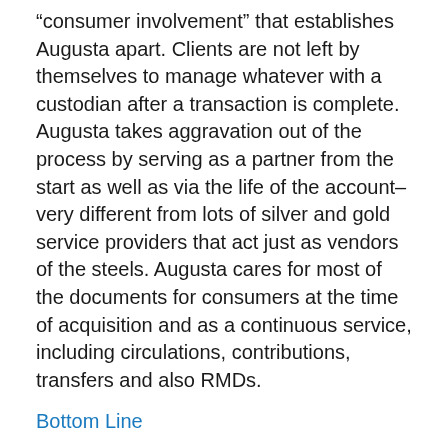“consumer involvement” that establishes Augusta apart. Clients are not left by themselves to manage whatever with a custodian after a transaction is complete. Augusta takes aggravation out of the process by serving as a partner from the start as well as via the life of the account– very different from lots of silver and gold service providers that act just as vendors of the steels. Augusta cares for most of the documents for consumers at the time of acquisition and as a continuous service, including circulations, contributions, transfers and also RMDs.
Bottom Line
Augusta Precious Metals establishes itself in addition to other gold business with a high